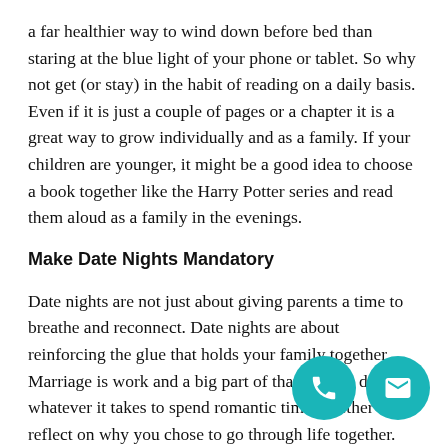a far healthier way to wind down before bed than staring at the blue light of your phone or tablet. So why not get (or stay) in the habit of reading on a daily basis. Even if it is just a couple of pages or a chapter it is a great way to grow individually and as a family. If your children are younger, it might be a good idea to choose a book together like the Harry Potter series and read them aloud as a family in the evenings.
Make Date Nights Mandatory
Date nights are not just about giving parents a time to breathe and reconnect. Date nights are about reinforcing the glue that holds your family together. Marriage is work and a big part of that work is doing whatever it takes to spend romantic time together and reflect on why you chose to go through life together. Make date nights a mandatory obligation can only be rescheduled for a SERIOUS emergency